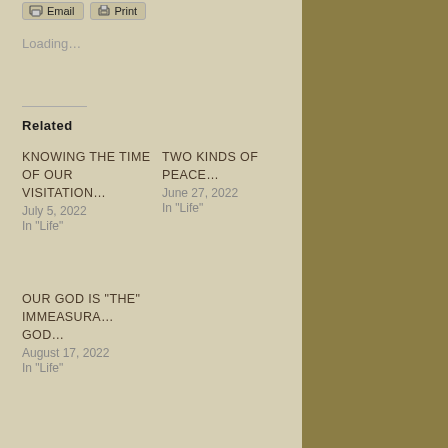Loading...
Related
KNOWING THE TIME OF OUR VISITATION...
July 5, 2022
In "Life"
TWO KINDS OF PEACE...
June 27, 2022
In "Life"
OUR GOD IS “THE” IMMEASURA... GOD...
August 17, 2022
In "Life"